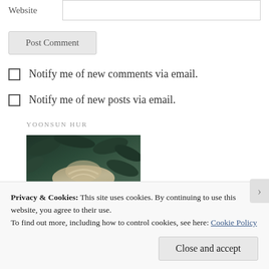Website
Post Comment
Notify me of new comments via email.
Notify me of new posts via email.
YOONSUN HUR
[Figure (photo): Photo of a person with dark hair surrounded by green foliage]
Privacy & Cookies: This site uses cookies. By continuing to use this website, you agree to their use.
To find out more, including how to control cookies, see here: Cookie Policy
Close and accept